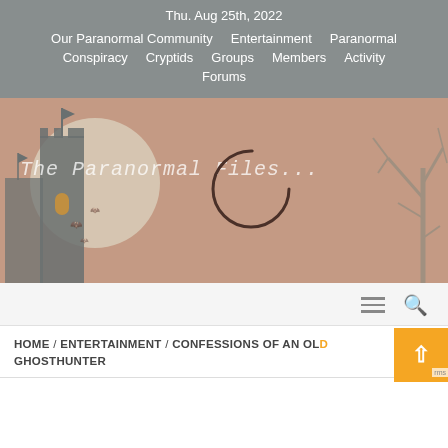Thu. Aug 25th, 2022
Our Paranormal Community
Entertainment
Paranormal
Conspiracy
Cryptids
Groups
Members
Activity
Forums
[Figure (illustration): Website hero banner with a haunted castle silhouette on the left, a large moon in the background, bare tree branches on the right, a loading spinner circle in the center, and the text 'The Paranormal Files...' in monospace white font overlaid on a dusty rose/brown background.]
HOME / ENTERTAINMENT / CONFESSIONS OF AN OLD GHOSTHUNTER